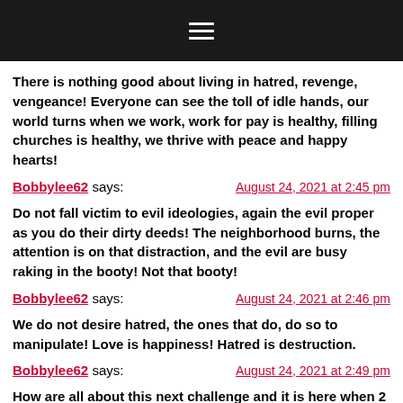≡ (hamburger menu icon)
There is nothing good about living in hatred, revenge, vengeance! Everyone can see the toll of idle hands, our world turns when we work, work for pay is healthy, filling churches is healthy, we thrive with peace and happy hearts!
Bobbylee62 says: August 24, 2021 at 2:45 pm
Do not fall victim to evil ideologies, again the evil proper as you do their dirty deeds! The neighborhood burns, the attention is on that distraction, and the evil are busy raking in the booty! Not that booty!
Bobbylee62 says: August 24, 2021 at 2:46 pm
We do not desire hatred, the ones that do, do so to manipulate! Love is happiness! Hatred is destruction.
Bobbylee62 says: August 24, 2021 at 2:49 pm
How are all about this next challenge and it is here when 2 the end here If